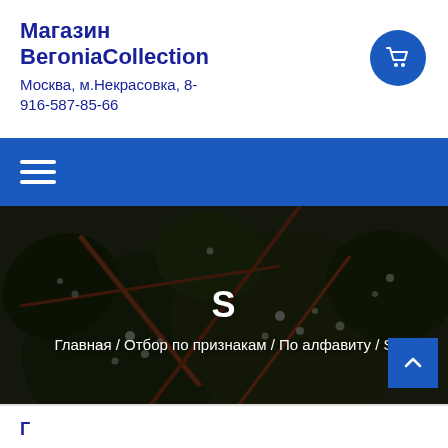Магазин BeгoniaCollection
Москва, м.Некрасовка, 8-916-587-85-66
[Figure (screenshot): Navigation bar with hamburger menu icon on blue background]
[Figure (photo): Hero image of dark green begonia leaves with white spots on reddish stems, with overlay text showing 'S' and breadcrumb navigation]
S
Главная / Отбор по признакам / По алфавиту / S
Г